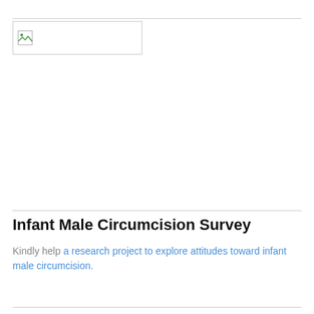[Figure (logo): Logo image placeholder box with broken image icon in top-left corner]
Infant Male Circumcision Survey
Kindly help a research project to explore attitudes toward infant male circumcision.